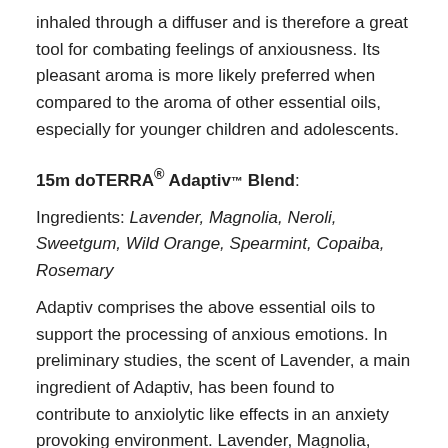inhaled through a diffuser and is therefore a great tool for combating feelings of anxiousness. Its pleasant aroma is more likely preferred when compared to the aroma of other essential oils, especially for younger children and adolescents.
15m doTERRA® Adaptiv™ Blend:
Ingredients: Lavender, Magnolia, Neroli, Sweetgum, Wild Orange, Spearmint, Copaiba, Rosemary
Adaptiv comprises the above essential oils to support the processing of anxious emotions. In preliminary studies, the scent of Lavender, a main ingredient of Adaptiv, has been found to contribute to anxiolytic like effects in an anxiety provoking environment. Lavender, Magnolia, Neroli, and Sweetgum provide stress-relieving effects while Wild Orange and Spearmint energize and uplift. Copaiba and Rosemary soothe anxious feelings also to round out the calming blend.